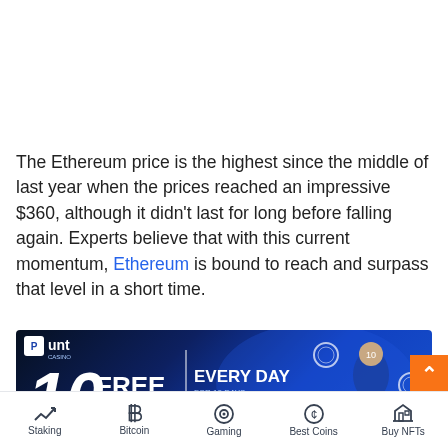The Ethereum price is the highest since the middle of last year when the prices reached an impressive $360, although it didn't last for long before falling again. Experts believe that with this current momentum, Ethereum is bound to reach and surpass that level in a short time.
[Figure (infographic): Punt Casino advertisement banner: '10 FREE SPINS EVERY DAY FOR 10 DAYS - PLAY NOW' with logo and a person celebrating]
The level is the next critical resistance zone, as Ethereu...
Staking | Bitcoin | Gaming | Best Coins | Buy NFTs